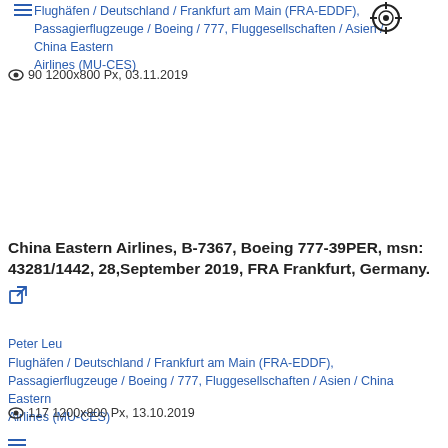Peter Leu (truncated at top)
Flughäfen / Deutschland / Frankfurt am Main (FRA-EDDF), Passagierflugzeuge / Boeing / 777, Fluggesellschaften / Asien / China Eastern Airlines (MU-CES)
👁 90 1200x800 Px, 03.11.2019
China Eastern Airlines, B-7367, Boeing 777-39PER, msn: 43281/1442, 28,September 2019, FRA Frankfurt, Germany.
Peter Leu
Flughäfen / Deutschland / Frankfurt am Main (FRA-EDDF), Passagierflugzeuge / Boeing / 777, Fluggesellschaften / Asien / China Eastern Airlines (MU-CES)
👁 117 1200x800 Px, 13.10.2019